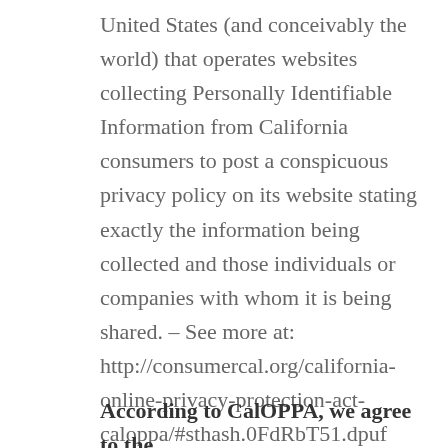United States (and conceivably the world) that operates websites collecting Personally Identifiable Information from California consumers to post a conspicuous privacy policy on its website stating exactly the information being collected and those individuals or companies with whom it is being shared. – See more at: http://consumercal.org/california-online-privacy-protection-act-caloppa/#sthash.0FdRbT51.dpuf
According to CalOPPA, we agree to the